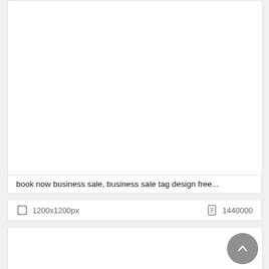[Figure (other): White blank image area for a card]
book now business sale, business sale tag design free...
1200x1200px   1440000
[Figure (other): Second card with white blank image area, with a scroll-to-top circular button in bottom right]